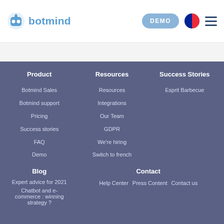botmind | DEMO
Product
Botmind Sales
Botmind support
Pricing
Success stories
FAQ
Demo
Resources
Resources
Integrations
Our Team
GDPR
We're hiring
Switch to french
Success Stories
Esprit Barbecue
Blog
Expert advice for 2021
Chatbot and e-commerce : winning strategy ?
Contact
Help Center
Press Content
Contact us